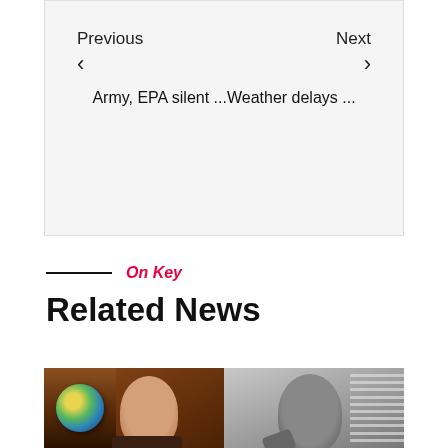Previous  Army, EPA silent ...  ‹        Next  Weather delays ...  ›
On Key
Related News
[Figure (photo): Two portrait photos side by side: left shows a smiling middle-aged bald man in front of bookshelves with a globe; right shows a Black woman in grayscale with window blinds visible in background]